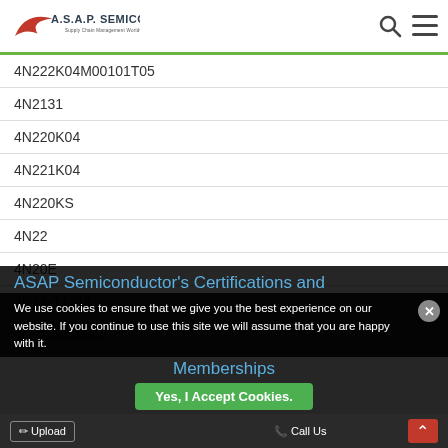A.S.A.P. Semiconductor - Supply Chain Management Worldwide
4N222K04M00101T05
4N2131
4N220K04
4N221K04
4N220KS
4N22
4N20E
4N22-T1314
4N220K04M00
ASAP Semiconductor's Certifications and Memberships
We use cookies to ensure that we give you the best experience on our website. If you continue to use this site we will assume that you are happy with it.
Upload | Call Us